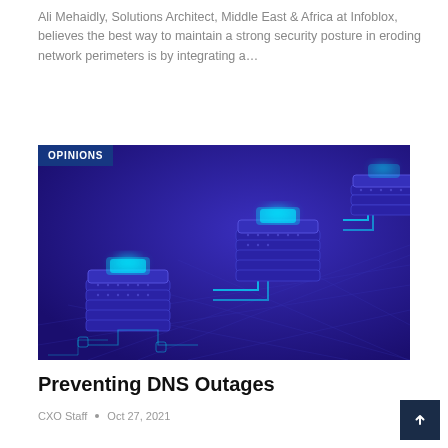Ali Mehaidly, Solutions Architect, Middle East & Africa at Infoblox, believes the best way to maintain a strong security posture in eroding network perimeters is by integrating a...
READ MORE...
[Figure (illustration): Isometric illustration of three stacked server/network nodes with glowing cyan tops connected by circuit-like lines, on a dark blue/purple background. Badge reading 'OPINIONS' in upper left corner.]
Preventing DNS Outages
CXO Staff  •  Oct 27, 2021